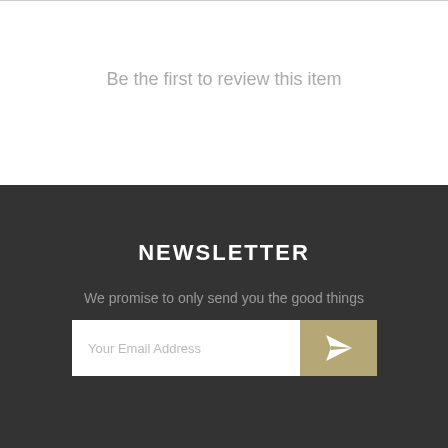Be the first to review this item
NEWSLETTER
We promise to only send you the good things
[Figure (other): Email newsletter signup form with text input field labeled 'Your Email Address' and a tan/gold submit button with a paper airplane icon]